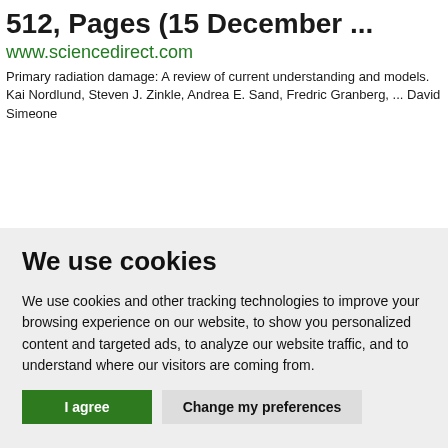512, Pages (15 December ...
www.sciencedirect.com
Primary radiation damage: A review of current understanding and models. Kai Nordlund, Steven J. Zinkle, Andrea E. Sand, Fredric Granberg, ... David Simeone
We use cookies
We use cookies and other tracking technologies to improve your browsing experience on our website, to show you personalized content and targeted ads, to analyze our website traffic, and to understand where our visitors are coming from.
I agree | Change my preferences